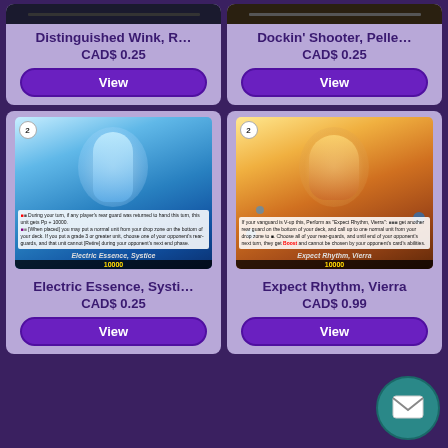[Figure (screenshot): Partial card image for Distinguished Wink, R... at top]
Distinguished Wink, R...
CAD$ 0.25
View
[Figure (screenshot): Partial card image for Dockin' Shooter, Pelle... at top]
Dockin' Shooter, Pelle...
CAD$ 0.25
View
[Figure (illustration): Trading card art: Electric Essence, Systice - blue anime character with flowing blue hair and wings]
Electric Essence, Systi...
CAD$ 0.25
View
[Figure (illustration): Trading card art: Expect Rhythm, Vierra - colorful warm-toned anime character]
Expect Rhythm, Vierra
CAD$ 0.99
View